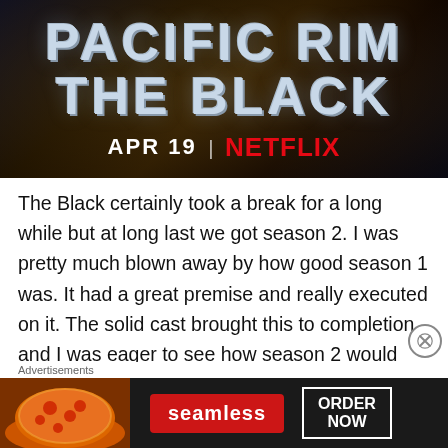[Figure (photo): Pacific Rim: The Black Netflix promotional banner with title text 'PACIFIC RIM THE BLACK' and release date 'APR 19 | NETFLIX' on dark background]
The Black certainly took a break for a long while but at long last we got season 2. I was pretty much blown away by how good season 1 was. It had a great premise and really executed on it. The solid cast brought this to completion and I was eager to see how season 2 would play things out. Season 2 is a very different show in a lot of ways and while the first one had me gushing about
Advertisements
[Figure (photo): Seamless food delivery advertisement showing pizza image on left, Seamless red logo in center, and ORDER NOW button on right, on dark background]